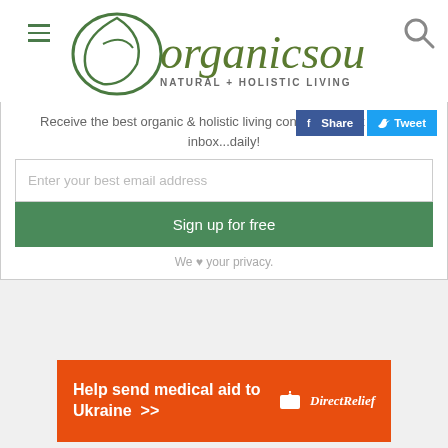organic soul — NATURAL + HOLISTIC LIVING
Receive the best organic & holistic living content straight to your inbox...daily!
[Figure (screenshot): Facebook Share and Twitter Tweet social sharing buttons]
Enter your best email address
Sign up for free
We ♥ your privacy.
[Figure (infographic): Direct Relief advertisement banner: Help send medical aid to Ukraine >> with Direct Relief logo on orange background]